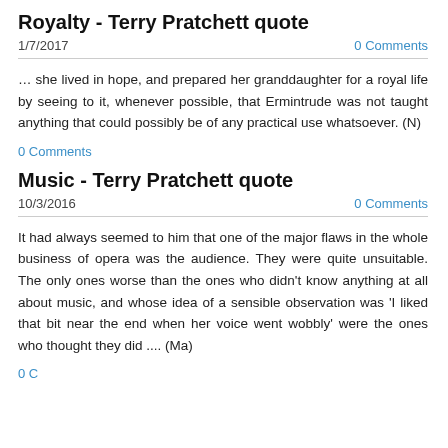Royalty - Terry Pratchett quote
1/7/2017
0 Comments
… she lived in hope, and prepared her granddaughter for a royal life by seeing to it, whenever possible, that Ermintrude was not taught anything that could possibly be of any practical use whatsoever. (N)
0 Comments
Music - Terry Pratchett quote
10/3/2016
0 Comments
It had always seemed to him that one of the major flaws in the whole business of opera was the audience. They were quite unsuitable. The only ones worse than the ones who didn't know anything at all about music, and whose idea of a sensible observation was 'I liked that bit near the end when her voice went wobbly' were the ones who thought they did .... (Ma)
0 C